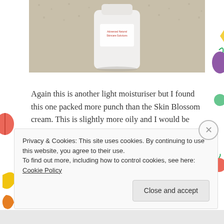[Figure (photo): A white cylindrical skincare product bottle labeled 'Advanced Natural Skincare Solutions' sitting on a beige carpet background, cropped to show top portion]
Again this is another light moisturiser but I found this one packed more punch than the Skin Blossom cream. This is slightly more oily and I would be happy to use this either in the morning or the evening, this cream has a faint flowery scent and you do not need to use very much to cover the face and neck.
Privacy & Cookies: This site uses cookies. By continuing to use this website, you agree to their use.
To find out more, including how to control cookies, see here: Cookie Policy
Close and accept